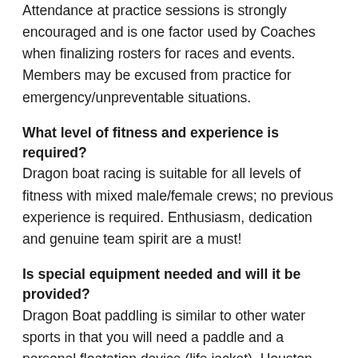Attendance at practice sessions is strongly encouraged and is one factor used by Coaches when finalizing rosters for races and events. Members may be excused from practice for emergency/unpreventable situations.
What level of fitness and experience is required?
Dragon boat racing is suitable for all levels of fitness with mixed male/female crews; no previous experience is required. Enthusiasm, dedication and genuine team spirit are a must!
Is special equipment needed and will it be provided?
Dragon Boat paddling is similar to other water sports in that you will need a paddle and a personal floatation device (life jacket). Houston Boat will have